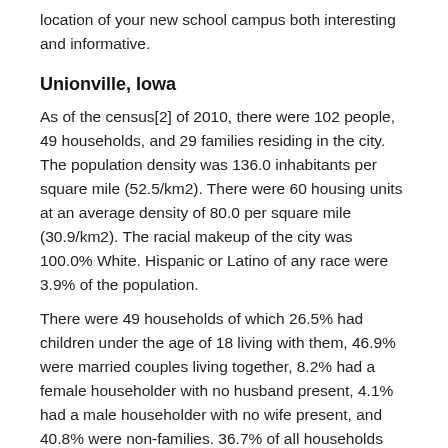location of your new school campus both interesting and informative.
Unionville, Iowa
As of the census[2] of 2010, there were 102 people, 49 households, and 29 families residing in the city. The population density was 136.0 inhabitants per square mile (52.5/km2). There were 60 housing units at an average density of 80.0 per square mile (30.9/km2). The racial makeup of the city was 100.0% White. Hispanic or Latino of any race were 3.9% of the population.
There were 49 households of which 26.5% had children under the age of 18 living with them, 46.9% were married couples living together, 8.2% had a female householder with no husband present, 4.1% had a male householder with no wife present, and 40.8% were non-families. 36.7% of all households were made up of individuals and 12.3% had